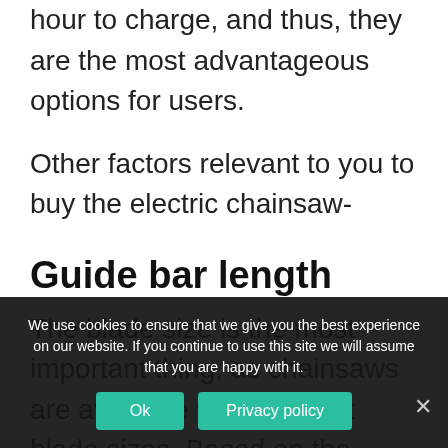hour to charge, and thus, they are the most advantageous options for users.
Other factors relevant to you to buy the electric chainsaw-
Guide bar length
The blade size is the most important thing, as chainsaws are available with different blade sizes. Based on the nature of the
We use cookies to ensure that we give you the best experience on our website. If you continue to use this site we will assume that you are happy with it.
Ok
Privacy policy